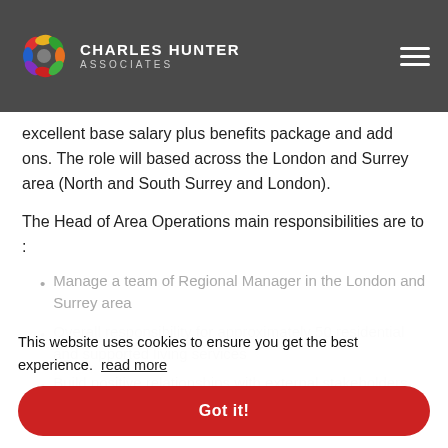CHARLES HUNTER ASSOCIATES
excellent base salary plus benefits package and add ons. The role will based across the London and Surrey area (North and South Surrey and London).
The Head of Area Operations main responsibilities are to :
Manage a team of Regional Manager in the London and Surrey area
Overall responsibility for approximately 50 residential and supported living services
Build positive relationships with external stakeholders
This website uses cookies to ensure you get the best experience.  read more
Got it!